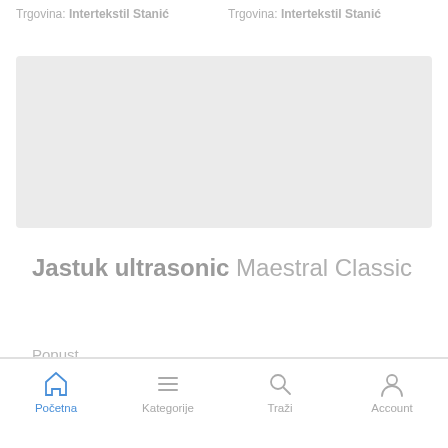Trgovina: Intertekstil Stanić    Trgovina: Intertekstil Stanić
[Figure (photo): Light gray rectangular placeholder area for a product image]
Jastuk ultrasonic Maestral Classic
Popust
Početna  Kategorije  Traži  Account